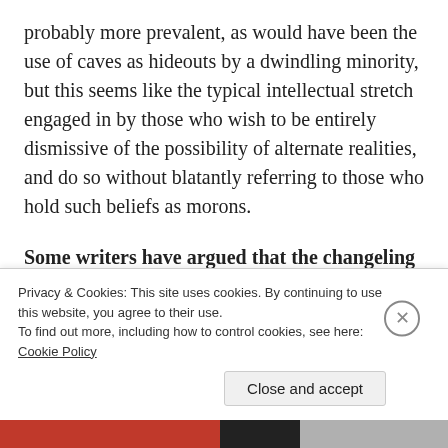probably more prevalent, as would have been the use of caves as hideouts by a dwindling minority, but this seems like the typical intellectual stretch engaged in by those who wish to be entirely dismissive of the possibility of alternate realities, and do so without blatantly referring to those who hold such beliefs as morons.
Some writers have argued that the changeling belief merely reflects a time when the aboriginal pre-Celtic peoples held in subjection by the Celts, and forced to live in mountain caverns and in secret retreats
Privacy & Cookies: This site uses cookies. By continuing to use this website, you agree to their use.
To find out more, including how to control cookies, see here: Cookie Policy